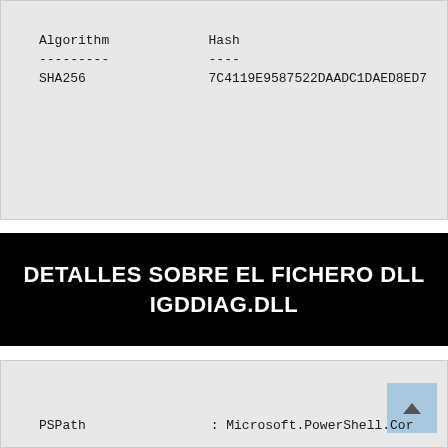| Algorithm | Hash |
| --- | --- |
| --------- | ---- |
| SHA256 | 7C4119E9587522DAADC1DAED8ED7 |
DETALLES SOBRE EL FICHERO DLL IGDDIAG.DLL
| PSPath | : Microsoft.PowerShell.Cor |